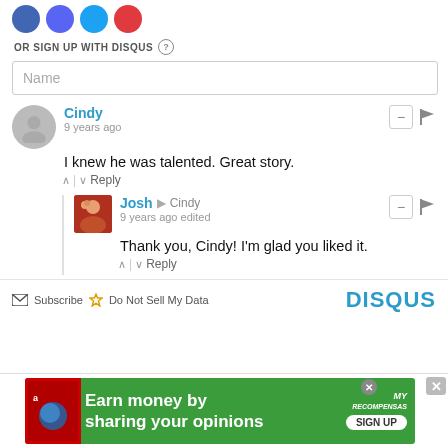[Figure (other): Social login icon buttons (Facebook, Discord, Twitter, Google)]
OR SIGN UP WITH DISQUS ?
Name
Cindy
9 years ago
I knew he was talented. Great story.
^ | v Reply
Josh → Cindy
9 years ago edited
Thank you, Cindy! I'm glad you liked it.
^ | v Reply
Subscribe  Do Not Sell My Data  DISQUS
[Figure (infographic): Advertisement banner: green background, 'Earn money by sharing your opinions' with SIGN UP button and MyPoints Recompensas logo]